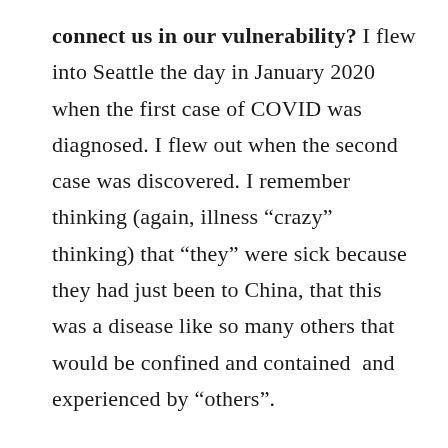connect us in our vulnerability? I flew into Seattle the day in January 2020 when the first case of COVID was diagnosed. I flew out when the second case was discovered. I remember thinking (again, illness “crazy” thinking) that “they” were sick because they had just been to China, that this was a disease like so many others that would be confined and contained  and experienced by “others”.
It was my nephew who early on in 2020 saw what COVID could so easily become. I